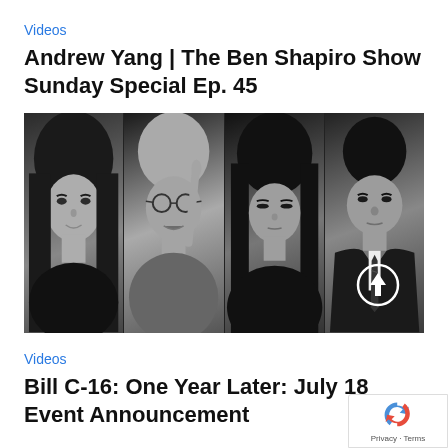Videos
Andrew Yang | The Ben Shapiro Show Sunday Special Ep. 45
[Figure (photo): Black and white composite image of four people: a young woman with long dark hair, an older woman with glasses raising her index finger, an Asian woman with a serious expression, and a man in a suit and tie. An upload arrow icon is overlaid on the bottom right of the image.]
Videos
Bill C-16: One Year Later: July 18 Event Announcement